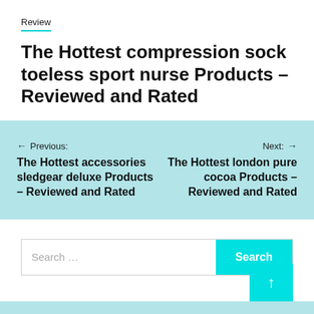Review
The Hottest compression sock toeless sport nurse Products – Reviewed and Rated
← Previous: The Hottest accessories sledgear deluxe Products – Reviewed and Rated
Next: → The Hottest london pure cocoa Products – Reviewed and Rated
Search ...